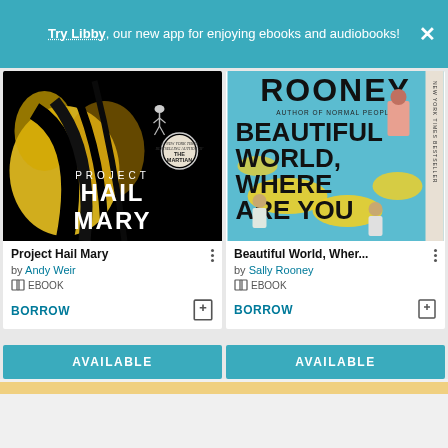Try Libby, our new app for enjoying ebooks and audiobooks!
[Figure (screenshot): Book cover for Project Hail Mary by Andy Weir — black background with yellow brushstroke art and white title text]
Project Hail Mary
by Andy Weir
EBOOK
BORROW
[Figure (screenshot): Book cover for Beautiful World, Where Are You by Sally Rooney — light blue background with large black title text and illustrated characters]
Beautiful World, Wher...
by Sally Rooney
EBOOK
BORROW
AVAILABLE
AVAILABLE